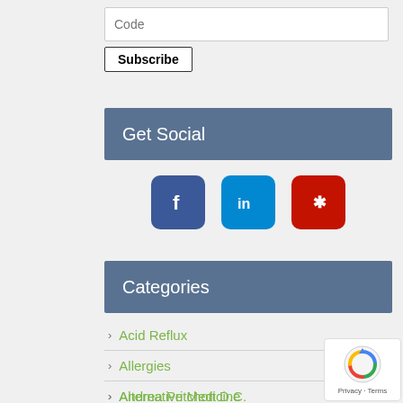Code
Subscribe
Get Social
[Figure (infographic): Social media icons: Facebook (blue), LinkedIn (light blue), Yelp (red)]
Categories
Acid Reflux
Allergies
Alternative Medicine
Andrea Pritchott D.C.